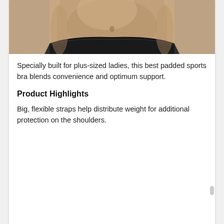[Figure (photo): Cropped photo of a woman's midsection wearing a black sports bra/shorts, showing torso with navel, dark athletic wear at bottom]
Specially built for plus-sized ladies, this best padded sports bra blends convenience and optimum support.
Product Highlights
Big, flexible straps help distribute weight for additional protection on the shoulders.